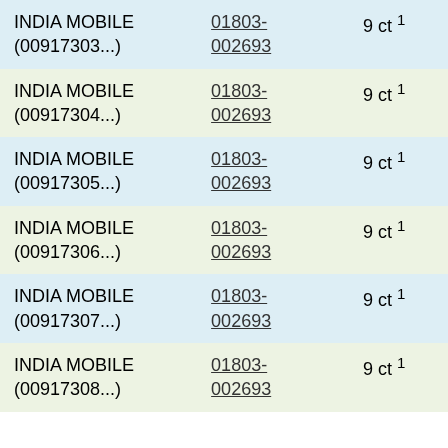| INDIA MOBILE (00917303...) | 01803-002693 | 9 ct ¹ |
| INDIA MOBILE (00917304...) | 01803-002693 | 9 ct ¹ |
| INDIA MOBILE (00917305...) | 01803-002693 | 9 ct ¹ |
| INDIA MOBILE (00917306...) | 01803-002693 | 9 ct ¹ |
| INDIA MOBILE (00917307...) | 01803-002693 | 9 ct ¹ |
| INDIA MOBILE (00917308...) | 01803-002693 | 9 ct ¹ |